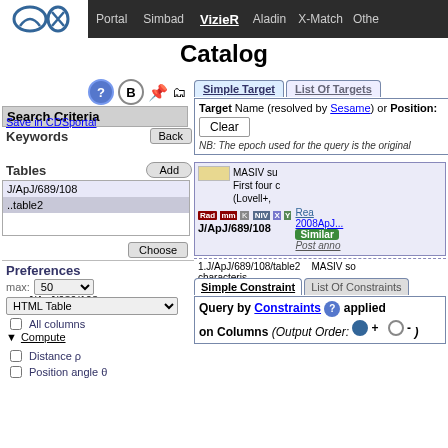Portal | Simbad | VizieR | Aladin | X-Match | Other
Catalog
Search Criteria
Save in CDSportal
Keywords | Back
J/ApJ/689/108
Tables | Add
J/ApJ/689/108
..table2
Choose
Preferences
max: 50
HTML Table
All columns
▼ Compute
Distance ρ
Position angle θ
Simple Target | List Of Targets
Target Name (resolved by Sesame) or Position:
Clear
NB: The epoch used for the query is the original
MASIV su
First four c
(Lovell+,
J/ApJ/689/108
Rea
2008ApJ...
Similar
Post anno
1.J/ApJ/689/108/table2
MASIV so
characteris
Simple Constraint | List Of Constraints
Query by Constraints ❓ applied on Columns (Output Order: ● + ○ -)